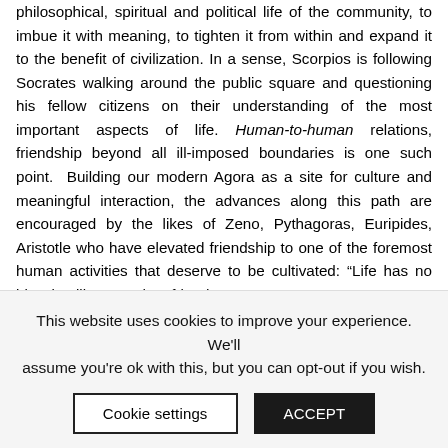philosophical, spiritual and political life of the community, to imbue it with meaning, to tighten it from within and expand it to the benefit of civilization. In a sense, Scorpios is following Socrates walking around the public square and questioning his fellow citizens on their understanding of the most important aspects of life. Human-to-human relations, friendship beyond all ill-imposed boundaries is one such point. Building our modern Agora as a site for culture and meaningful interaction, the advances along this path are encouraged by the likes of Zeno, Pythagoras, Euripides, Aristotle who have elevated friendship to one of the foremost human activities that deserve to be cultivated: “Life has no blessing like a prudent friend.”

When it comes to transcending the boundaries in the dialogue
This website uses cookies to improve your experience. We'll assume you're ok with this, but you can opt-out if you wish.